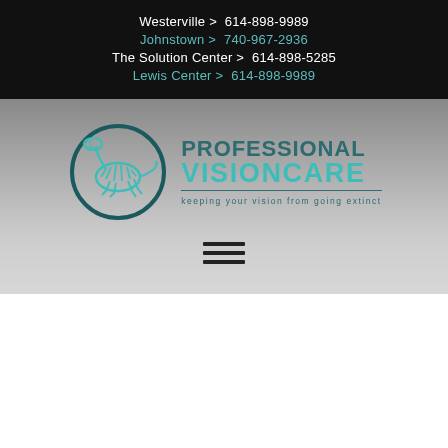Westerville > 614-898-9989
Johnstown > 740-967-2936
The Solution Center > 614-898-5285
Lewis Center > 614-898-9989
[Figure (logo): Professional VisionCare logo with a dinosaur skeleton inside a circle, teal and dark teal colors, tagline: keeping your vision from going extinct]
[Figure (illustration): Hamburger menu icon (three horizontal lines)]
[Figure (photo): Photo of a person with curly hair wearing glasses, urban background, partially visible]